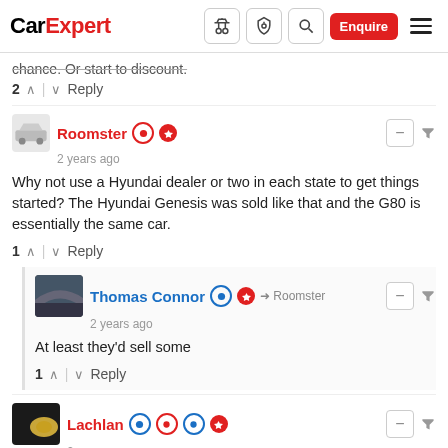CarExpert
chance. Or start to discount.
2 ↑ | ↓ Reply
Roomster • 2 years ago
Why not use a Hyundai dealer or two in each state to get things started? The Hyundai Genesis was sold like that and the G80 is essentially the same car.
1 ↑ | ↓ Reply
Thomas Connor → Roomster • 2 years ago
At least they'd sell some
1 ↑ | ↓ Reply
Lachlan • 2 years ago
2020 in general has been delayed to 2021 for us Melbournites...! I'll have to pop in when they do get it done.